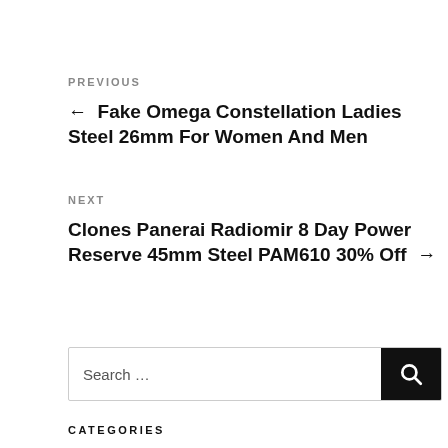PREVIOUS
← Fake Omega Constellation Ladies Steel 26mm For Women And Men
NEXT
Clones Panerai Radiomir 8 Day Power Reserve 45mm Steel PAM610 30% Off →
Search …
CATEGORIES